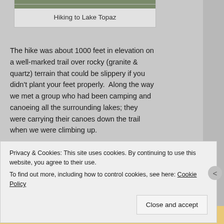[Figure (photo): Partial photo visible at top of page, showing hiking scene]
Hiking to Lake Topaz
The hike was about 1000 feet in elevation on a well-marked trail over rocky (granite & quartz) terrain that could be slippery if you didn't plant your feet properly.  Along the way we met a group who had been camping and canoeing all the surrounding lakes; they were carrying their canoes down the trail when we were climbing up.
[Figure (photo): Partial photo visible at bottom showing green foliage]
Privacy & Cookies: This site uses cookies. By continuing to use this website, you agree to their use.
To find out more, including how to control cookies, see here: Cookie Policy
Close and accept